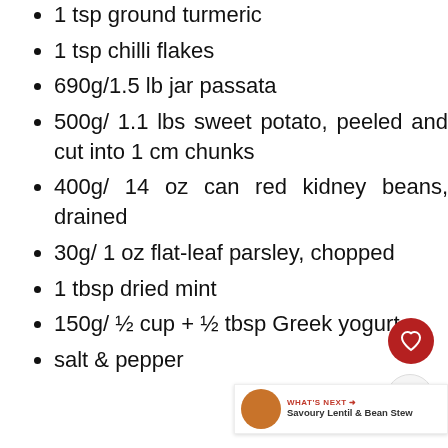1 tsp ground turmeric
1 tsp chilli flakes
690g/1.5 lb jar passata
500g/ 1.1 lbs sweet potato, peeled and cut into 1 cm chunks
400g/ 14 oz can red kidney beans, drained
30g/ 1 oz flat-leaf parsley, chopped
1 tbsp dried mint
150g/ ½ cup + ½ tbsp Greek yogurt
salt & pepper